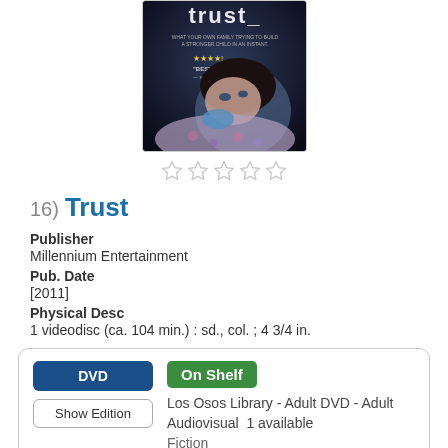[Figure (photo): DVD cover for the movie 'Trust' showing a young girl with dark hair resting on a floral pillow, dark moody lighting, title 'trust_' at top, star rating shown, text mentions best films]
16) Trust
Publisher
Millennium Entertainment
Pub. Date
[2011]
Physical Desc
1 videodisc (ca. 104 min.) : sd., col. ; 4 3/4 in.
DVD | On Shelf | Los Osos Library - Adult DVD - Adult Audiovisual 1 available | Fiction | Place Hold
Description
Read Description